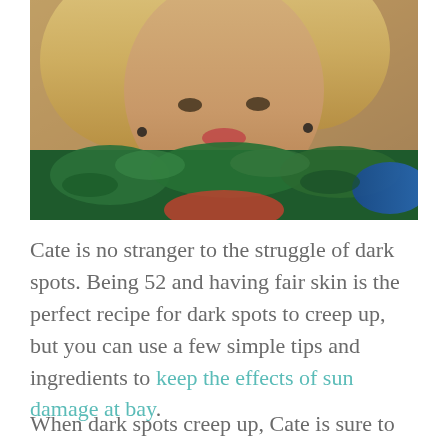[Figure (photo): Close-up photo of a blonde woman (Cate) wearing a decorative green and blue embroidered garment with bird/peacock motifs, against a warm brown background.]
Cate is no stranger to the struggle of dark spots. Being 52 and having fair skin is the perfect recipe for dark spots to creep up, but you can use a few simple tips and ingredients to keep the effects of sun damage at bay.
When dark spots creep up, Cate is sure to